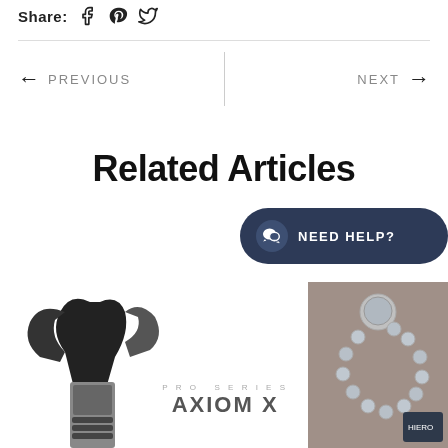Share:  [Facebook]  [Pinterest]  [Twitter]
← PREVIOUS
NEXT →
Related Articles
[Figure (screenshot): NEED HELP? chat button overlay, dark navy rounded pill shape with chat icon]
[Figure (photo): Product image of a slingshot with PRO SERIES AXIOM X text, and a partial image of beaded jewelry on the right]